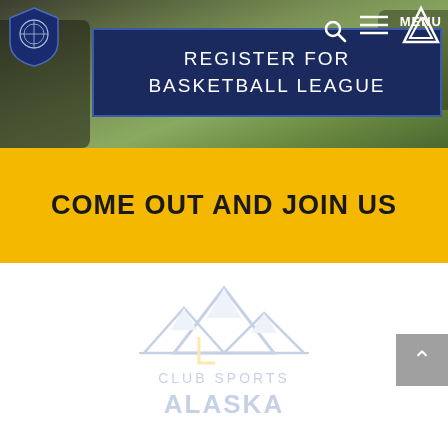[Figure (photo): Website screenshot hero section showing a soccer/football field with players in the background. Navigation bar with shield logo on left, Umbro logo on right, search and hamburger menu icons.]
REGISTER FOR BASKETBALL LEAGUE
COME OUT AND JOIN US
[Figure (logo): Club Sports Alaska watermark logo showing mountain peaks with text 'CLUB SPORTS ALASKA' in light blue/grey color]